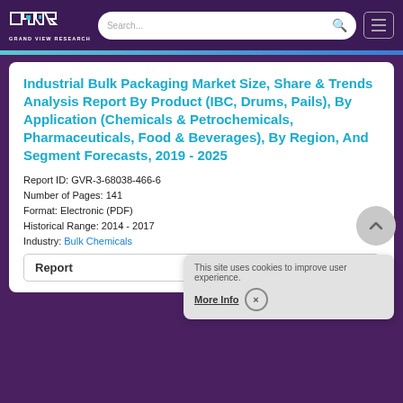Grand View Research
Industrial Bulk Packaging Market Size, Share & Trends Analysis Report By Product (IBC, Drums, Pails), By Application (Chemicals & Petrochemicals, Pharmaceuticals, Food & Beverages), By Region, And Segment Forecasts, 2019 - 2025
Report ID: GVR-3-68038-466-6
Number of Pages: 141
Format: Electronic (PDF)
Historical Range: 2014 - 2017
Industry: Bulk Chemicals
Report
This site uses cookies to improve user experience.
More Info